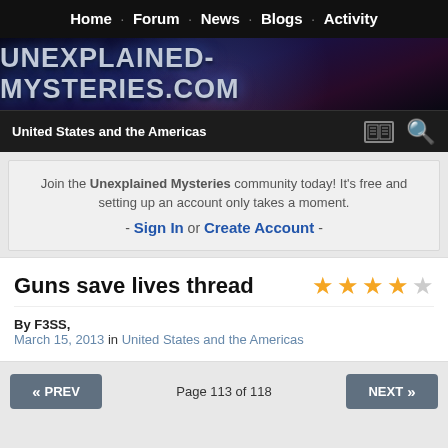Home · Forum · News · Blogs · Activity
[Figure (logo): UNEXPLAINED-MYSTERIES.COM logo banner with space/planet background]
United States and the Americas
Join the Unexplained Mysteries community today! It's free and setting up an account only takes a moment. - Sign In or Create Account -
Guns save lives thread
By F3SS, March 15, 2013 in United States and the Americas
Page 113 of 118
PREV
NEXT